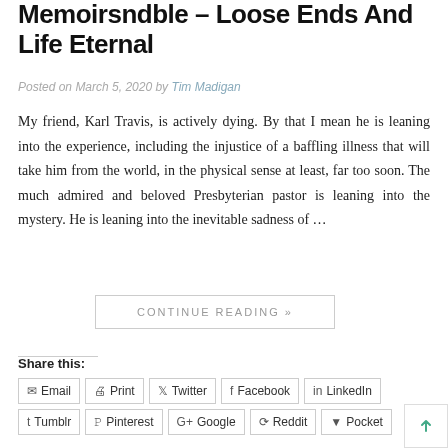Memoirsndble – Loose Ends And Life Eternal
Posted on March 5, 2020 by Tim Madigan
My friend, Karl Travis, is actively dying. By that I mean he is leaning into the experience, including the injustice of a baffling illness that will take him from the world, in the physical sense at least, far too soon. The much admired and beloved Presbyterian pastor is leaning into the mystery. He is leaning into the inevitable sadness of …
CONTINUE READING »
Share this:
Email  Print  Twitter  Facebook  LinkedIn  Tumblr  Pinterest  Google  Reddit  Pocket